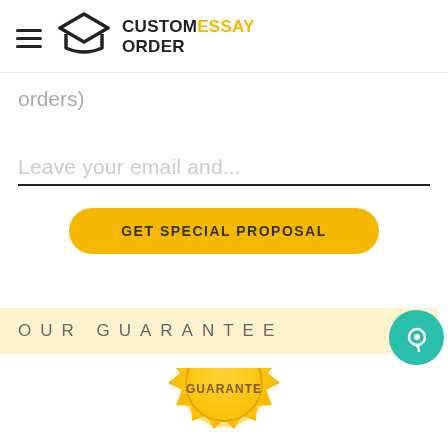CUSTOMESSAY ORDER
orders)
Leave your email and...
GET SPECIAL PROPOSAL
OUR GUARANTEE
[Figure (illustration): Partial gold guarantee/seal badge with text GUARANTE visible at bottom of page]